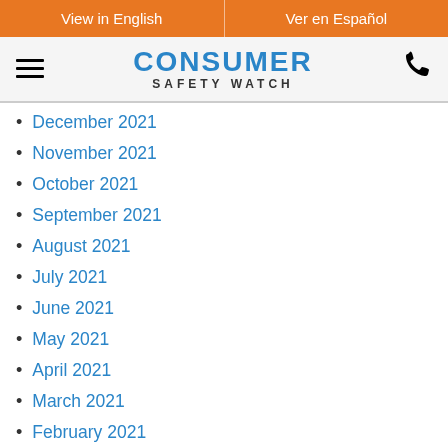View in English | Ver en Español
[Figure (logo): Consumer Safety Watch logo with hamburger menu and phone icon]
December 2021
November 2021
October 2021
September 2021
August 2021
July 2021
June 2021
May 2021
April 2021
March 2021
February 2021
January 2021
December 2020